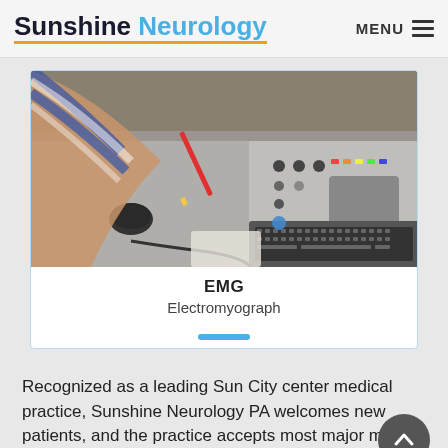Sunshine Neurology  MENU
[Figure (photo): Top-down view of an EMG (Electromyograph) machine on a desk with keyboard, control panel with colored buttons, cables, and a person's hand using a mouse. Person wearing a blue striped shirt.]
EMG
Electromyograph
Recognized as a leading Sun City center medical practice, Sunshine Neurology PA welcomes new patients, and the practice accepts most major medical insurance.